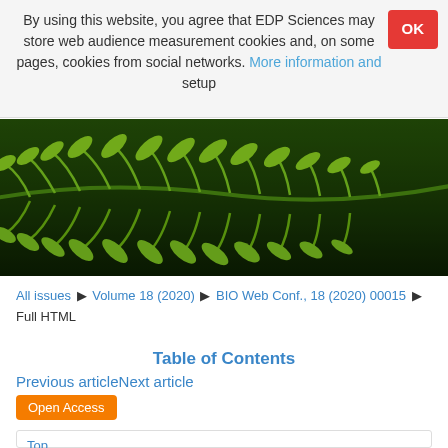By using this website, you agree that EDP Sciences may store web audience measurement cookies and, on some pages, cookies from social networks. More information and setup
[Figure (photo): Close-up photo of green fern leaves against a dark background]
All issues > Volume 18 (2020) > BIO Web Conf., 18 (2020) 00015 > Full HTML
Table of Contents
Previous articleNext article
Open Access
Top
Abstract